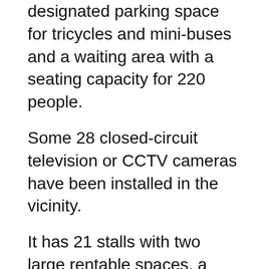designated parking space for tricycles and mini-buses and a waiting area with a seating capacity for 220 people.
Some 28 closed-circuit television or CCTV cameras have been installed in the vicinity.
It has 21 stalls with two large rentable spaces, a metal detector machine at the entrance, and a telephone/paging layout plan.
The bus terminal is one of the landmark projects under the administration of Marañon, who has been elected congressman of the second district in the May 9 elections. (PNA)